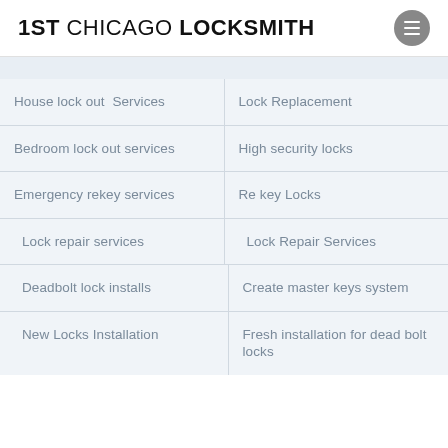1ST CHICAGO LOCKSMITH
House lock out  Services
Lock Replacement
Bedroom lock out services
High security locks
Emergency rekey services
Re key Locks
Lock repair services
Lock Repair Services
Deadbolt lock installs
Create master keys system
New Locks Installation
Fresh installation for dead bolt locks